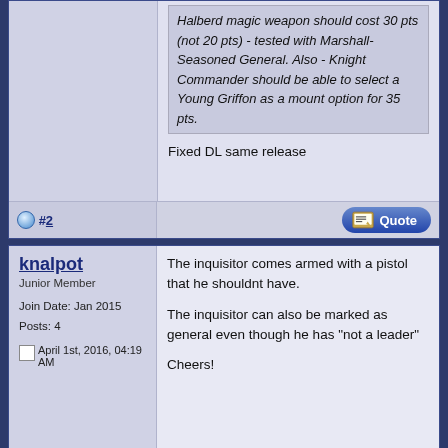Halberd magic weapon should cost 30 pts (not 20 pts) - tested with Marshall-Seasoned General. Also - Knight Commander should be able to select a Young Griffon as a mount option for 35 pts.
Fixed DL same release
#2
knalpot
Junior Member
Join Date: Jan 2015
Posts: 4
April 1st, 2016, 04:19 AM
The inquisitor comes armed with a pistol that he shouldnt have.

The inquisitor can also be marked as general even though he has "not a leader"

Cheers!
#3